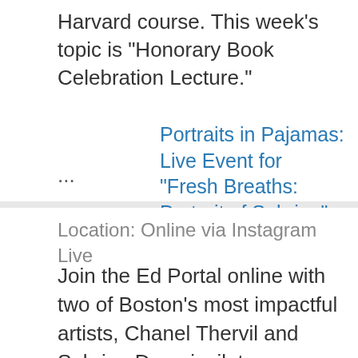Harvard course. This week's topic is "Honorary Book Celebration Lecture."
...
Portraits in Pajamas: Live Event for "Fresh Breaths: Portrait of Sabrina"
Location: Online via Instagram Live
Join the Ed Portal online with two of Boston's most impactful artists, Chanel Thervil and Sabrina Dorsainvil, to celebrate the virtual unveiling of Fresh Breaths: Portrait of Sabrina.